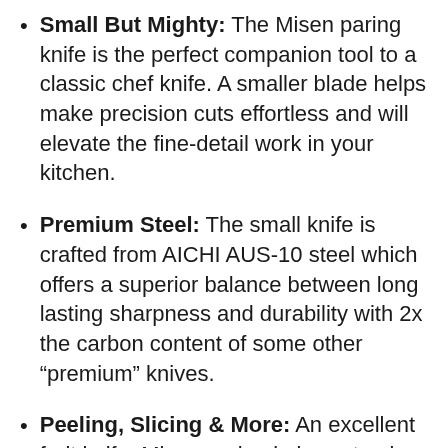Small But Mighty: The Misen paring knife is the perfect companion tool to a classic chef knife. A smaller blade helps make precision cuts effortless and will elevate the fine-detail work in your kitchen.
Premium Steel: The small knife is crafted from AICHI AUS-10 steel which offers a superior balance between long lasting sharpness and durability with 2x the carbon content of some other “premium” knives.
Peeling, Slicing & More: An excellent fruit knife, Misen paring knives step in when a standard chef’s knife might be too big for the task at hand. Precision slicing, chopping, and peeling, all